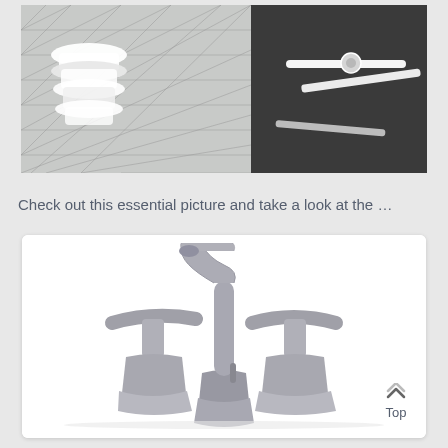[Figure (photo): Top portion showing bathroom accessories on a diamond tile pattern background. White towel or cloth items on the left, and a white towel bar with fixture on the right against a dark background.]
Check out this essential picture and take a look at the …
[Figure (photo): A brushed nickel/stainless steel widespread bathroom faucet with two lever handles and an arched spout, shown on a white background.]